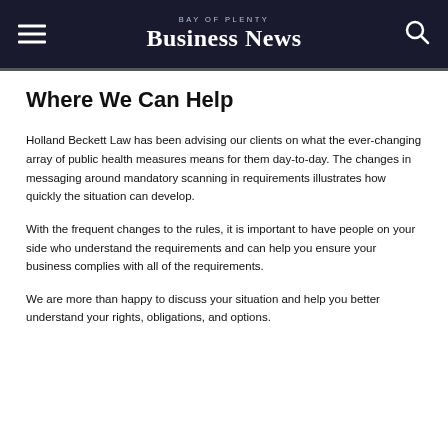BAY OF PLENTY BUSINESS NEWS
Where We Can Help
Holland Beckett Law has been advising our clients on what the ever-changing array of public health measures means for them day-to-day. The changes in messaging around mandatory scanning in requirements illustrates how quickly the situation can develop.
With the frequent changes to the rules, it is important to have people on your side who understand the requirements and can help you ensure your business complies with all of the requirements.
We are more than happy to discuss your situation and help you better understand your rights, obligations, and options.